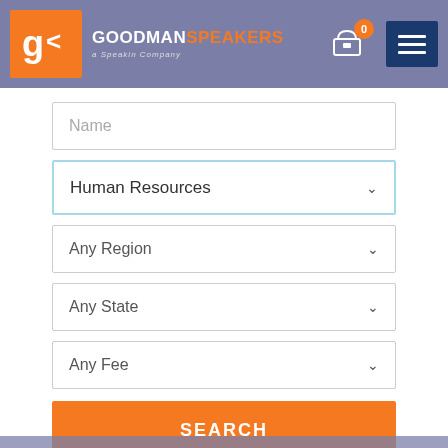[Figure (logo): Goodman Speakers logo with orange G< icon and brand name]
Name
Human Resources
Any Region
Any State
Any Fee
SEARCH
RESET